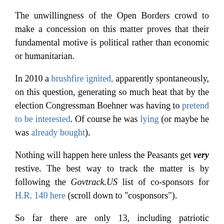The unwillingness of the Open Borders crowd to make a concession on this matter proves that their fundamental motive is political rather than economic or humanitarian.
In 2010 a brushfire ignited, apparently spontaneously, on this question, generating so much heat that by the election Congressman Boehner was having to pretend to be interested. Of course he was lying (or maybe he was already bought).
Nothing will happen here unless the Peasants get very restive. The best way to track the matter is by following the Govtrack.US list of co-sponsors for H.R. 140 here (scroll down to "cosponsors").
So far there are only 13, including patriotic champions Lou Barletta and Mo Brooks. Many who should be there are still absent.